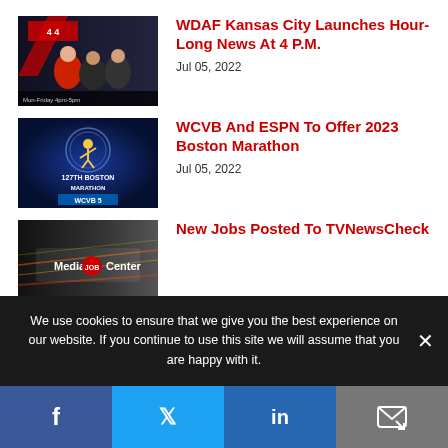[Figure (screenshot): Thumbnail image of WDAF Kansas City news anchors on a dark studio background]
WDAF Kansas City Launches Hour-Long News At 4 P.M.
Jul 05, 2022
[Figure (screenshot): Thumbnail of 127th Boston Marathon WCVB5 promotional graphic on dark blue background]
WCVB And ESPN To Offer 2023 Boston Marathon
Jul 05, 2022
[Figure (screenshot): Thumbnail of Media Job Center banner with city lights background]
New Jobs Posted To TVNewsCheck
We use cookies to ensure that we give you the best experience on our website. If you continue to use this site we will assume that you are happy with it.